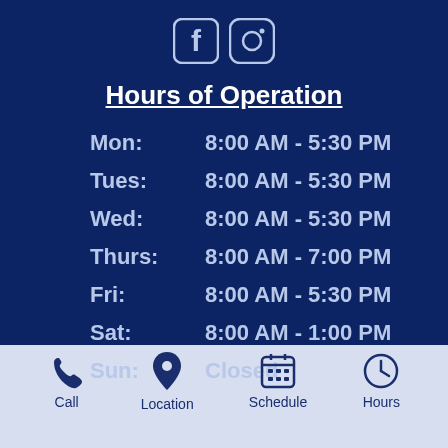Hours of Operation
Mon:  8:00 AM - 5:30 PM
Tues:  8:00 AM - 5:30 PM
Wed:  8:00 AM - 5:30 PM
Thurs:  8:00 AM - 7:00 PM
Fri:  8:00 AM - 5:30 PM
Sat:  8:00 AM - 1:00 PM
Sun:  Closed
Call | Location | Schedule | Hours